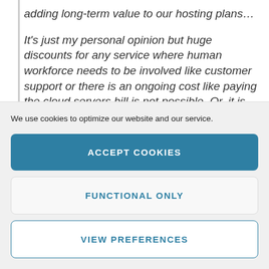adding long-term value to our hosting plans…
It's just my personal opinion but huge discounts for any service where human workforce needs to be involved like customer support or there is an ongoing cost like paying the cloud servers bill is not possible. Or, it is
We use cookies to optimize our website and our service.
ACCEPT COOKIES
FUNCTIONAL ONLY
VIEW PREFERENCES